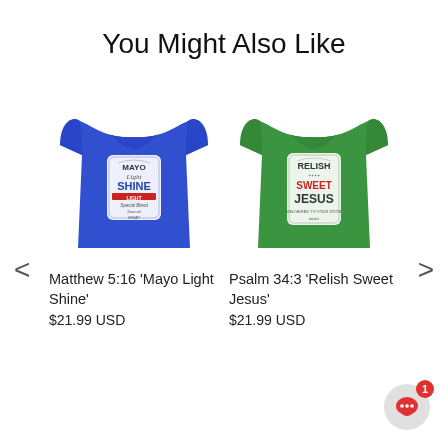You Might Also Like
[Figure (photo): Blue t-shirt with 'Mayo Light Shine' label graphic]
Matthew 5:16 'Mayo Light Shine'
$21.99 USD
[Figure (photo): Green t-shirt with 'Relish Sweet Jesus' label graphic]
Psalm 34:3 'Relish Sweet Jesus'
$21.99 USD